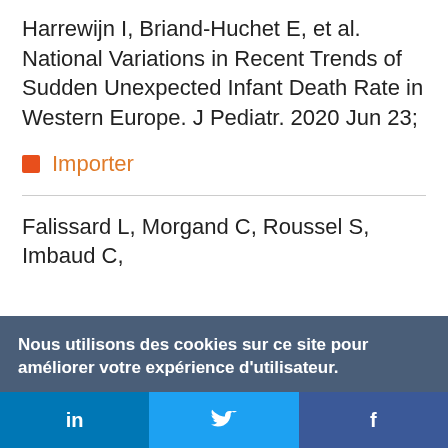Harrewijn I, Briand-Huchet E, et al. National Variations in Recent Trends of Sudden Unexpected Infant Death Rate in Western Europe. J Pediatr. 2020 Jun 23;
Importer
Falissard L, Morgand C, Roussel S, Imbaud C,
Nous utilisons des cookies sur ce site pour améliorer votre expérience d'utilisateur.

En cliquant sur un lien de cette page, vous nous donnez votre consentement de définir des cookies.
Oui, je suis d'accord | Plus d'infos
in  |  [Twitter bird]  |  f